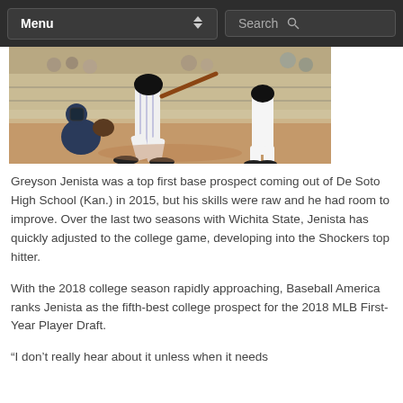Menu | Search
[Figure (photo): Baseball action photo showing players at home plate — a batter in white pinstripes swinging, a catcher crouching, and another player visible in the background on a dirt field with a fence and crowd behind them.]
Greyson Jenista was a top first base prospect coming out of De Soto High School (Kan.) in 2015, but his skills were raw and he had room to improve. Over the last two seasons with Wichita State, Jenista has quickly adjusted to the college game, developing into the Shockers top hitter.
With the 2018 college season rapidly approaching, Baseball America ranks Jenista as the fifth-best college prospect for the 2018 MLB First-Year Player Draft.
“I don’t really hear about it unless when it needs